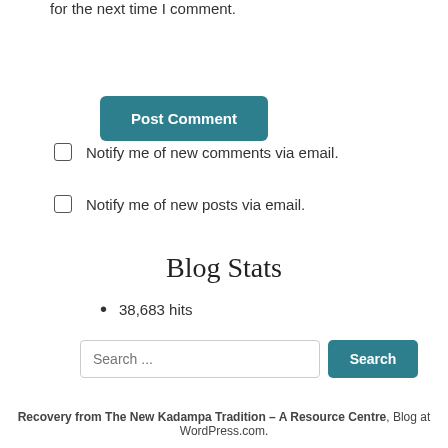for the next time I comment.
Post Comment
Notify me of new comments via email.
Notify me of new posts via email.
Blog Stats
38,683 hits
Search ...
Recovery from The New Kadampa Tradition – A Resource Centre, Blog at WordPress.com.